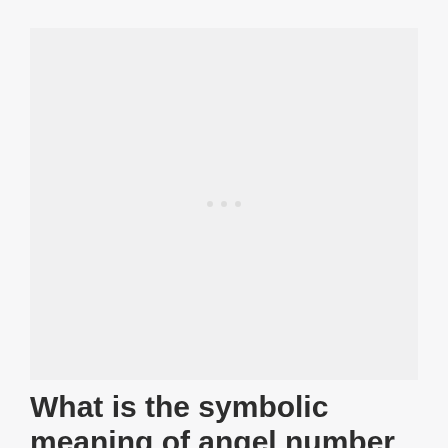[Figure (other): Placeholder image area with three small grey dots indicating a loading or placeholder state]
What is the symbolic meaning of angel number